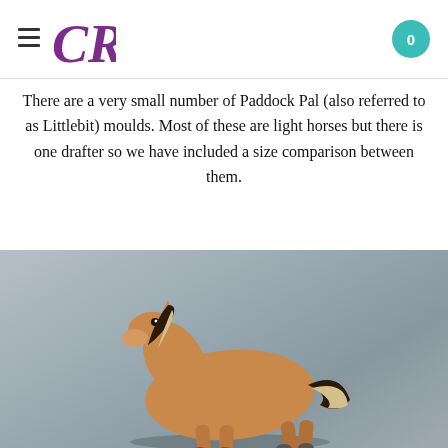CR logo header with hamburger menu and cart button (0)
There are a very small number of Paddock Pal (also referred to as Littlebit) moulds. Most of these are light horses but there is one drafter so we have included a size comparison between them.
From back to front:
Light Horse
Heavy Horse
[Figure (photo): Photo of a tan/buckskin horse figurine (toy model) with dark mane and tail, posed on a grey background]